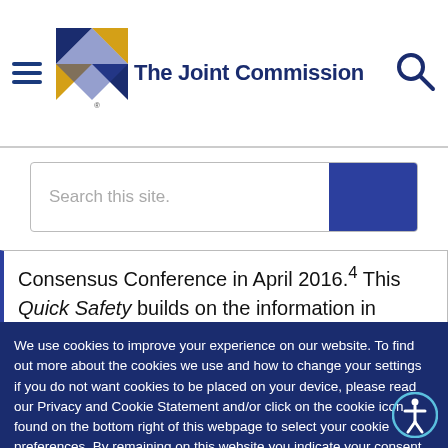[Figure (logo): The Joint Commission logo with hamburger menu and search icon in header]
[Figure (screenshot): Search bar with placeholder text 'Search this site.' and blue search button]
Consensus Conference in April 2016.4 This Quick Safety builds on the information in
We use cookies to improve your experience on our website. To find out more about the cookies we use and how to change your settings if you do not want cookies to be placed on your device, please read our Privacy and Cookie Statement and/or click on the cookie icon found on the bottom right of this webpage to select your cookie preferences. By remaining on this website you indicate your consent. Privacy Policy